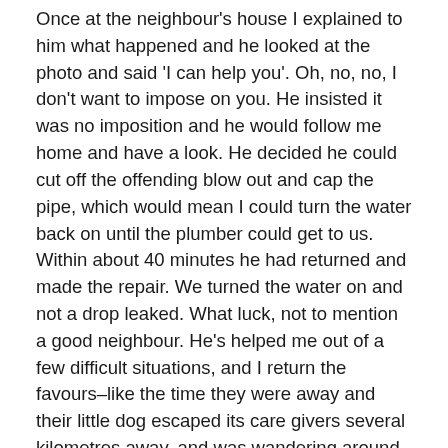Once at the neighbour's house I explained to him what happened and he looked at the photo and said 'I can help you'. Oh, no, no, I don't want to impose on you. He insisted it was no imposition and he would follow me home and have a look. He decided he could cut off the offending blow out and cap the pipe, which would mean I could turn the water back on until the plumber could get to us. Within about 40 minutes he had returned and made the repair. We turned the water on and not a drop leaked. What luck, not to mention a good neighbour. He's helped me out of a few difficult situations, and I return the favours–like the time they were away and their little dog escaped its care givers several kilometres away, and was wandering around outside home in the heat. We spent a snuggly afternoon together in the air conditioning.